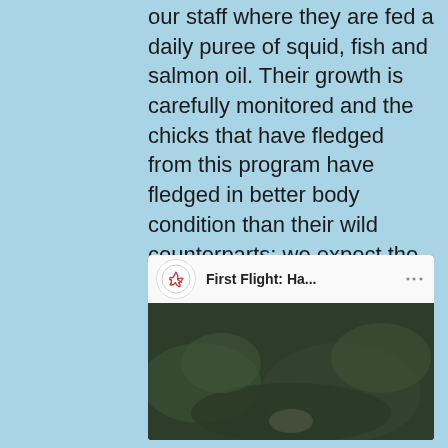our staff where they are fed a daily puree of squid, fish and salmon oil. Their growth is carefully monitored and the chicks that have fledged from this program have fledged in better body condition than their wild counterparts; we expect the first Hawaiian Petrel chicks to start returning to the site as pre-breeding adults in 2019. For more information, download the Nihoku Brochure or visit www.nihoku.org.
[Figure (screenshot): YouTube video thumbnail titled 'First Flight: Ha...' with a play button, showing a bird on the ground in a natural setting. Channel icon shows a hummingbird silhouette.]